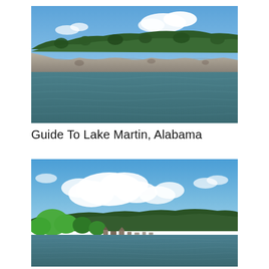[Figure (photo): View of Lake Martin, Alabama from the water — rocky limestone cliffs with dense trees on top, calm dark water in the foreground, blue sky with white clouds above.]
Guide To Lake Martin, Alabama
[Figure (photo): Scenic view of Lake Martin shoreline with lush green trees in foreground, a marina or small town visible at the water's edge, large white clouds in a blue sky.]